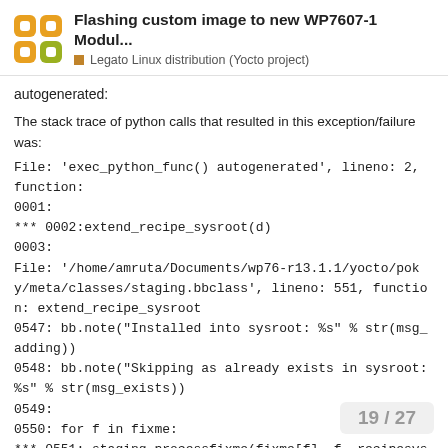Flashing custom image to new WP7607-1 Modul... | Legato Linux distribution (Yocto project)
autogenerated:
The stack trace of python calls that resulted in this exception/failure was:
File: 'exec_python_func() autogenerated', lineno: 2, function:
0001:
*** 0002:extend_recipe_sysroot(d)
0003:
File: '/home/amruta/Documents/wp76-r13.1.1/yocto/poky/meta/classes/staging.bbclass', lineno: 551, function: extend_recipe_sysroot
0547: bb.note("Installed into sysroot: %s" % str(msg_adding))
0548: bb.note("Skipping as already exists in sysroot: %s" % str(msg_exists))
0549:
0550: for f in fixme:
*** 0551: staging_processfixme(fixme[f], f, recipesysroot, recipesysrootnative, d)
0552:
19 / 27